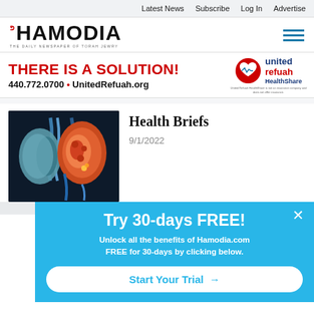Latest News  Subscribe  Log In  Advertise
[Figure (logo): Hamodia newspaper logo - THE DAILY NEWSPAPER OF TORAH JEWRY]
[Figure (advertisement): United Refuah HealthShare advertisement: THERE IS A SOLUTION! 440.772.0700 • UnitedRefuah.org - United Refuah HealthShare is not an insurance company and does not offer insurance.]
Health Briefs
9/1/2022
[Figure (photo): Medical illustration of human kidneys on dark background]
Try 30-days FREE! Unlock all the benefits of Hamodia.com FREE for 30-days by clicking below. Start Your Trial →